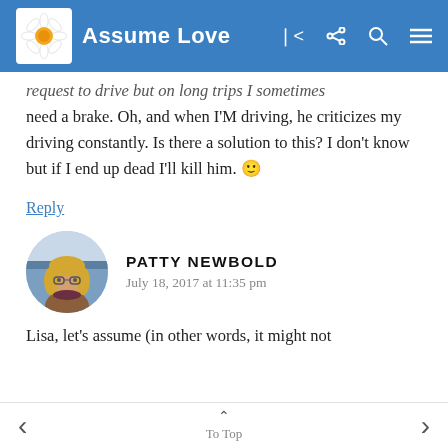Assume Love
request to drive but on long trips I sometimes need a brake. Oh, and when I'M driving, he criticizes my driving constantly. Is there a solution to this? I don't know but if I end up dead I'll kill him. 🙂
Reply
PATTY NEWBOLD
July 18, 2017 at 11:35 pm
Lisa, let's assume (in other words, it might not
To Top